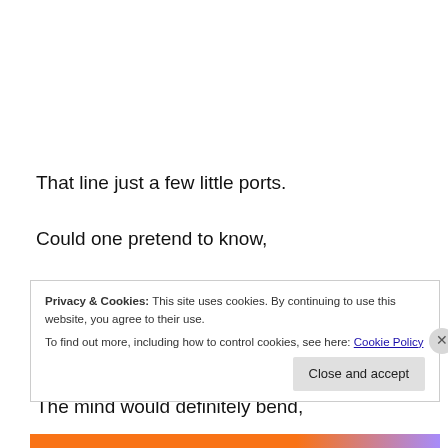That line just a few little ports.
Could one pretend to know,
Counting row after even row,
The final tally would be so very grand,
The mind would definitely bend,
Privacy & Cookies: This site uses cookies. By continuing to use this website, you agree to their use.
To find out more, including how to control cookies, see here: Cookie Policy